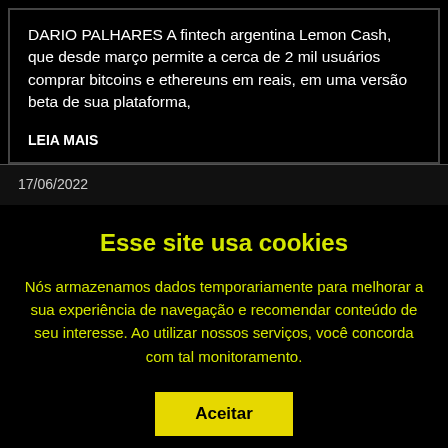DARIO PALHARES A fintech argentina Lemon Cash, que desde março permite a cerca de 2 mil usuários comprar bitcoins e ethereuns em reais, em uma versão beta de sua plataforma,
LEIA MAIS
17/06/2022
Esse site usa cookies
Nós armazenamos dados temporariamente para melhorar a sua experiência de navegação e recomendar conteúdo de seu interesse. Ao utilizar nossos serviços, você concorda com tal monitoramento.
Aceitar